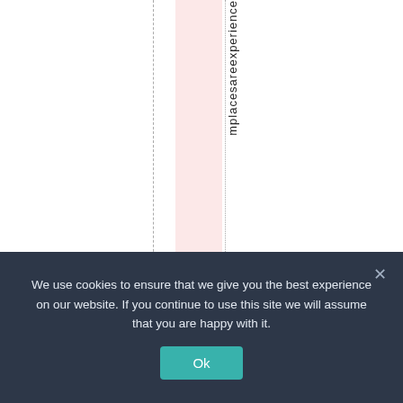[Figure (other): A webpage layout fragment showing a pink highlighted column between two dashed/dotted vertical lines, with vertically-oriented (rotated) text reading 'mplacesareexperie' descending along a dotted column line.]
We use cookies to ensure that we give you the best experience on our website. If you continue to use this site we will assume that you are happy with it.